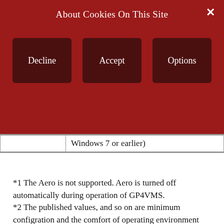About Cookies On This Site
Decline | Accept | Options
|  | Windows 7 or earlier) |
*1 The Aero is not supported. Aero is turned off automatically during operation of GP4VMS.
*2 The published values, and so on are minimum configration and the comfort of operating environment depends on such as data size of 3D model to handle.
When you select hardware, please confirm an operation in advance.
*3 According to the combination of a graphics card and a driver, the system might not work normally. That case might be improved by updating the driver or adjusting the performance level of the hardware.